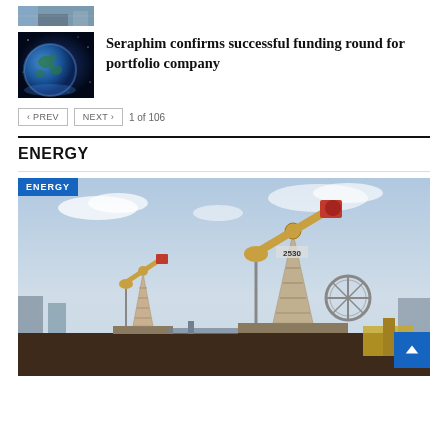[Figure (photo): Partial top image — building/industrial thumbnail cropped at top of page]
[Figure (photo): Globe/Earth image thumbnail with blue space background]
Seraphim confirms successful funding round for portfolio company
< PREV   NEXT >   1 of 106
ENERGY
[Figure (photo): Oil field pump jacks with ENERGY badge overlay in top-left corner]